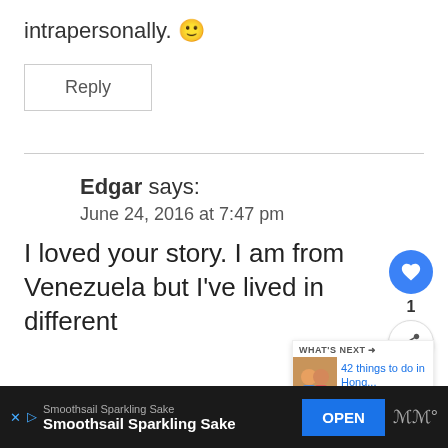intrapersonally. 🙂
Reply
Edgar says:
June 24, 2016 at 7:47 pm
I loved your story. I am from Venezuela but I've lived in different
WHAT'S NEXT → 42 things to do in Hong...
Smoothsail Sparkling Sake
Smoothsail Sparkling Sake
OPEN